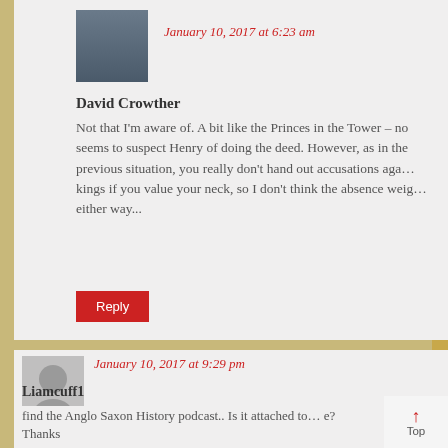January 10, 2017 at 6:23 am
David Crowther
Not that I'm aware of. A bit like the Princes in the Tower – no one seems to suspect Henry of doing the deed. However, as in the previous situation, you really don't hand out accusations against kings if you value your neck, so I don't think the absence weighs either way...
January 10, 2017 at 9:29 pm
Liamcuff1
David, I didn't know where else to post this, but I am cu… wh… find the Anglo Saxon History podcast.. Is it attached to… e?… Thanks